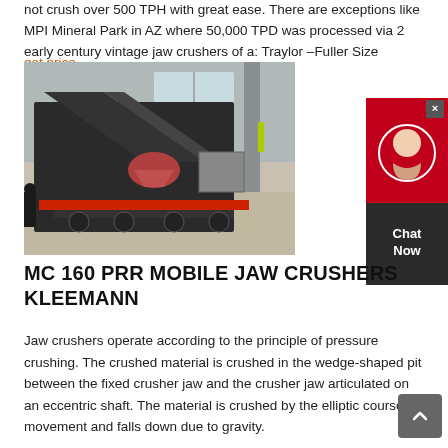not crush over 500 TPH with great ease. There are exceptions like MPI Mineral Park in AZ where 50,000 TPD was processed via 2 early century vintage jaw crushers of a: Traylor –Fuller Size
get price
[Figure (photo): Photo of MC 160 PRR mobile jaw crusher machine (Kleemann) on a trailer in an industrial building]
[Figure (other): Chat Now widget — circular avatar icon on dark background with text 'Chat Now']
MC 160 PRR MOBILE JAW CRUSHERS KLEEMANN
Jaw crushers operate according to the principle of pressure crushing. The crushed material is crushed in the wedge-shaped pit between the fixed crusher jaw and the crusher jaw articulated on an eccentric shaft. The material is crushed by the elliptic course of movement and falls down due to gravity.